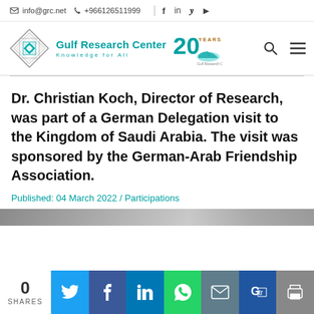info@grc.net  +966126511999
[Figure (logo): Gulf Research Center logo with diamond geometric shape, teal text 'Gulf Research Center / Knowledge for All' and 20 years anniversary emblem]
Dr. Christian Koch, Director of Research, was part of a German Delegation visit to the Kingdom of Saudi Arabia. The visit was sponsored by the German-Arab Friendship Association.
Published: 04 March 2022 / Participations
[Figure (photo): Partial view of a photo at the bottom of the article]
0 SHARES — Share buttons: Twitter, Facebook, LinkedIn, WhatsApp, Email, Google Translate, Print